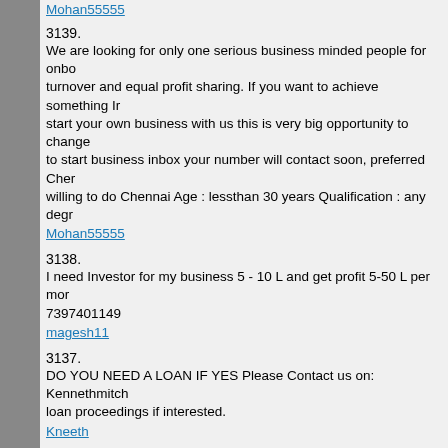Mohan55555
3139.
We are looking for only one serious business minded people for onbo turnover and equal profit sharing. If you want to achieve something Ir start your own business with us this is very big opportunity to change to start business inbox your number will contact soon, preferred Chen willing to do Chennai Age : lessthan 30 years Qualification : any degr
Mohan55555
3138.
I need Investor for my business 5 - 10 L and get profit 5-50 L per mor 7397401149
magesh11
3137.
DO YOU NEED A LOAN IF YES Please Contact us on: Kennethmitch loan proceedings if interested.
Kneeth
3136.
My name is Scheuer i am located in USA. i will like to publish the har God has been very grateful to me and my family. 5months ago i was s $90,000.00 to buy a house in my country (USA). And i was scammed. 2weeks ago i was directed to a lender online by a friend and the nam Mitchelln.Who is the CEO of Kenneth Mitchell Loan Company, I will a
Kneeth
3135.
For genuine investors only, who is looking out for real good business 15 lakhs with 30% area stake. expected min profit after one year 2lak can be extended or the deposit amount will be returned.